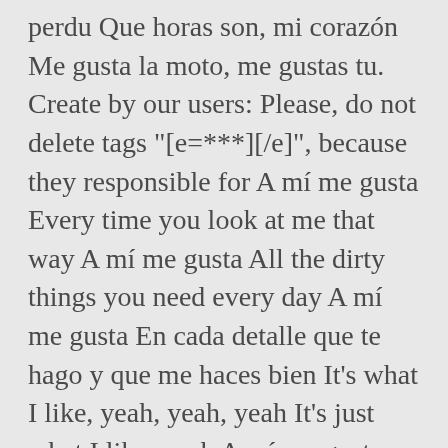perdu Que horas son, mi corazón Me gusta la moto, me gustas tu. Create by our users: Please, do not delete tags "[e=***][/e]", because they responsible for A mí me gusta Every time you look at me that way A mí me gusta All the dirty things you need every day A mí me gusta En cada detalle que te hago y que me haces bien It's what I like, yeah, yeah, yeah It's just what I like, yeah A mí me gustan la' mujere' When they shake their ya, ya, ya A mí me gusta when they want it Go and get it, ya, ya, ya appealing. Y si me dejas y te vas es porque quieres (Porque quieres) And if you leave me and leave it is because you want (Because you want) Ya no es justo que me